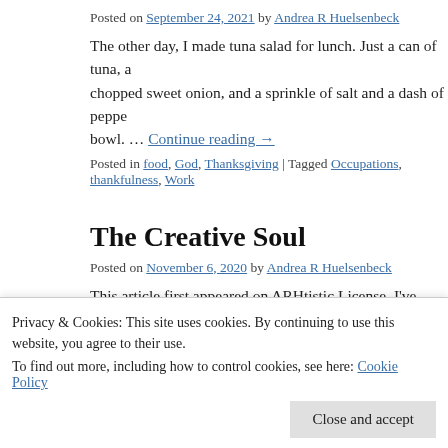Posted on September 24, 2021 by Andrea R Huelsenbeck
The other day, I made tuna salad for lunch. Just a can of tuna, a chopped sweet onion, and a sprinkle of salt and a dash of peppe bowl. … Continue reading →
Posted in food, God, Thanksgiving | Tagged Occupations, thankfulness, Work
The Creative Soul
Posted on November 6, 2020 by Andrea R Huelsenbeck
This article first appeared on ARHtistic License. I've been intro topics, such as the presence of God in our lives. I want to be a p having trouble hearing. Continue reading →
Privacy & Cookies: This site uses cookies. By continuing to use this website, you agree to their use.
To find out more, including how to control cookies, see here: Cookie Policy
Close and accept
Posted on September 18, 2020 by Andrea R Huelsenbeck